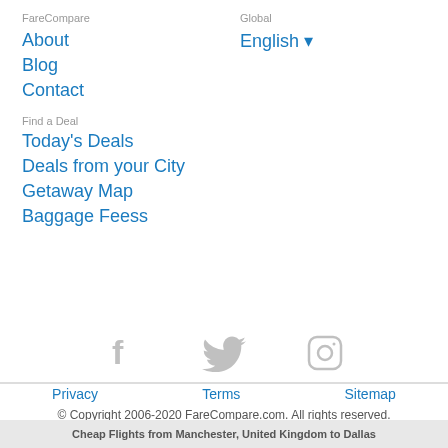FareCompare
About
Blog
Contact
Global
English ▼
Find a Deal
Today's Deals
Deals from your City
Getaway Map
Baggage Feess
[Figure (illustration): Social media icons: Facebook, Twitter, Instagram in gray]
Privacy   Terms   Sitemap
© Copyright 2006-2020 FareCompare.com. All rights reserved.
Cheap Flights from Manchester, United Kingdom to Dallas